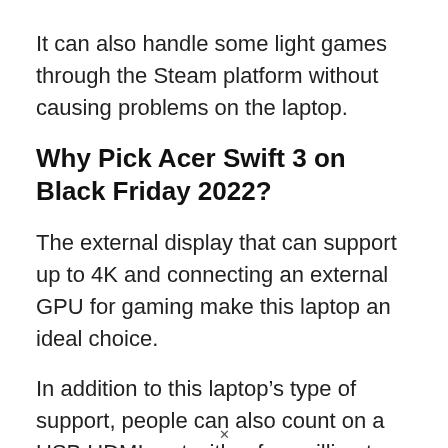It can also handle some light games through the Steam platform without causing problems on the laptop.
Why Pick Acer Swift 3 on Black Friday 2022?
The external display that can support up to 4K and connecting an external GPU for gaming make this laptop an ideal choice.
In addition to this laptop’s type of support, people can also count on a USB HDMI port with a few millimeters of distance. It